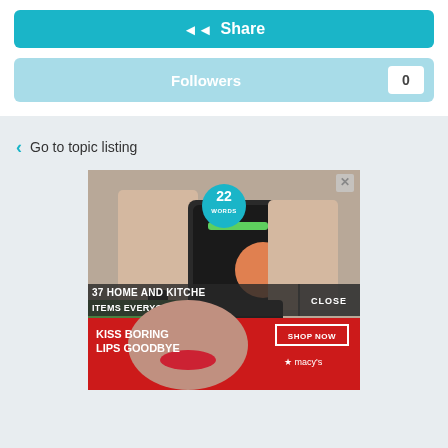Share
Followers 0
Go to topic listing
[Figure (screenshot): Advertisement showing kitchen gadget with text '37 HOME AND KITCHEN ITEMS EVERYONE' and a Macy's ad for lips cosmetics with 'KISS BORING LIPS GOODBYE' and 'SHOP NOW' button. A '22 WORDS' badge appears at top.]